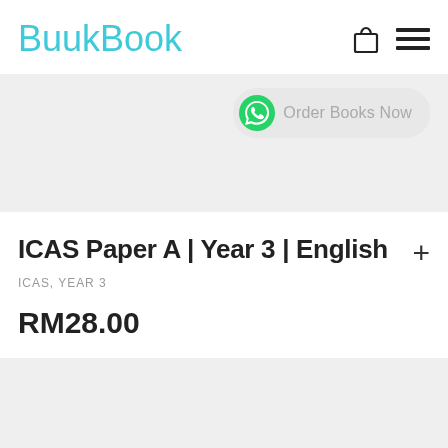BuukBook
[Figure (screenshot): WhatsApp icon button with 'Order Books Now' text on a grey pill-shaped background]
ICAS Paper A | Year 3 | English
ICAS, YEAR 3
RM28.00
[Figure (other): Grey rectangular banner area at bottom]